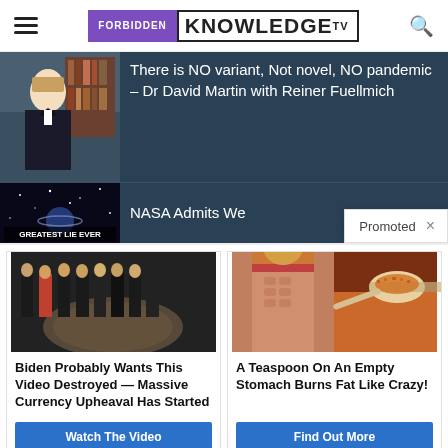FORBIDDEN KNOWLEDGE TV
[Figure (screenshot): Article thumbnail with man in tuxedo/bow tie in front of bookshelves]
There is NO variant, Not novel, NO pandemic – Dr David Martin with Reiner Fuellmich
[Figure (screenshot): Thumbnail with 'GREATEST LIE EVER' text over space/stars background]
NASA Admits We...
Promoted ×
[Figure (screenshot): Group of people in dark suits on CIA logo floor with red circle highlighting one person and play button overlay]
[Figure (photo): Woman with abs next to spoon of spice/supplement powder]
Biden Probably Wants This Video Destroyed — Massive Currency Upheaval Has Started
Watch The Video
A Teaspoon On An Empty Stomach Burns Fat Like Crazy!
Find Out More